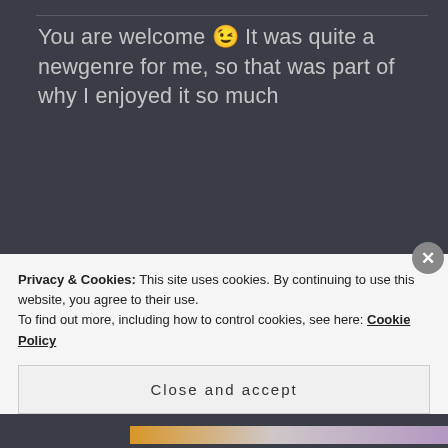You are welcome 😉 It was quite a newgenre for me, so that was part of why I enjoyed it so much
MANDI782015 says: ↩ Reply
September 6, 2015 at 7:24 pm
Privacy & Cookies: This site uses cookies. By continuing to use this website, you agree to their use.
To find out more, including how to control cookies, see here: Cookie Policy
Close and accept